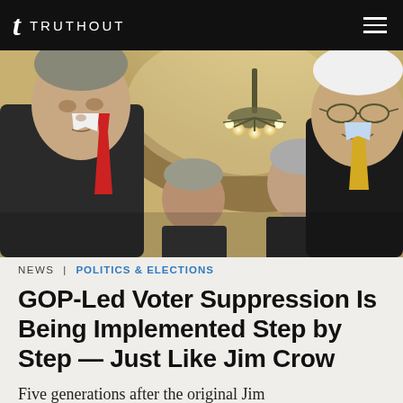TRUTHOUT
[Figure (photo): Four men in suits standing in an ornate government building with a chandelier and dome ceiling. One man on the left wears a red tie, one on the right wears glasses and a yellow tie.]
NEWS | POLITICS & ELECTIONS
GOP-Led Voter Suppression Is Being Implemented Step by Step — Just Like Jim Crow
Five generations after the original Jim